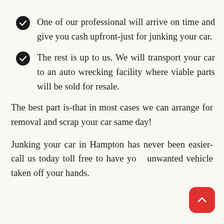One of our professional will arrive on time and give you cash upfront-just for junking your car.
The rest is up to us. We will transport your car to an auto wrecking facility where viable parts will be sold for resale.
The best part is-that in most cases we can arrange for removal and scrap your car same day!
Junking your car in Hampton has never been easier-call us today toll free to have your unwanted vehicle taken off your hands.